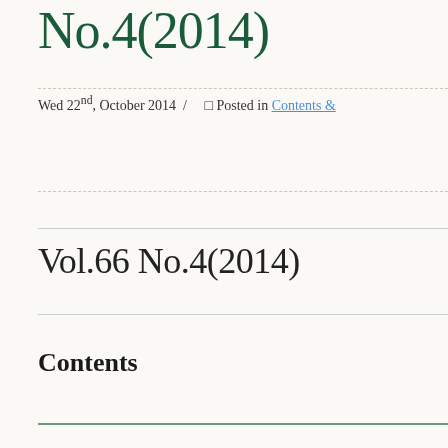No.4(2014)
Wed 22nd, October 2014  /     Posted in Contents &
Vol.66 No.4(2014)
Contents